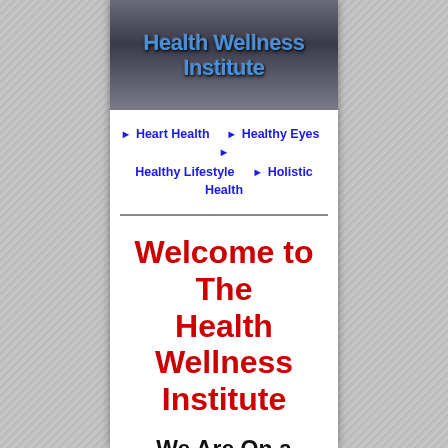[Figure (logo): Health Wellness Institute logo banner with blue metallic text on dark gradient background]
▶ Heart Health   ▶ Healthy Eyes   ▶
Healthy Lifestyle   ▶ Holistic Health
Welcome to The Health Wellness Institute
We Are On a Mission Working for your Health, Wellness &